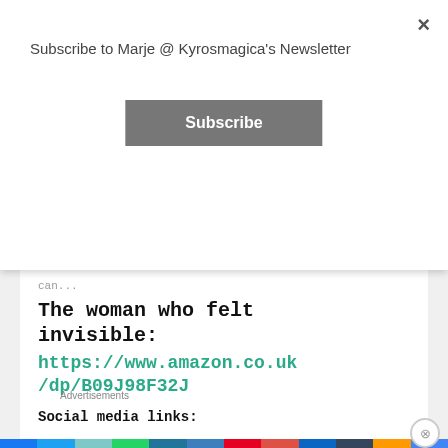Subscribe to Marje @ Kyrosmagica's Newsletter
Subscribe
can...
The woman who felt invisible:
https://www.amazon.co.uk/dp/B09J98F32J
Social media links:
Advertisements
Search, browse, and email with more privacy. All in One Free App